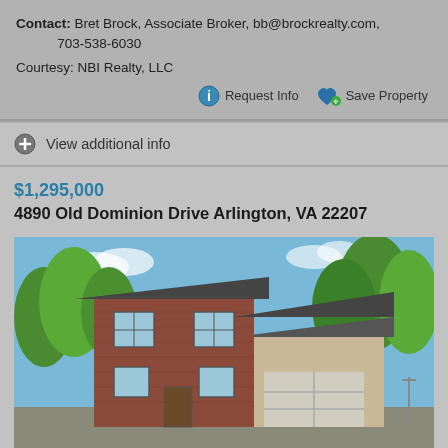Contact: Bret Brock, Associate Broker, bb@brockrealty.com, 703-538-6030
Courtesy: NBI Realty, LLC
Request Info   Save Property
View additional info
$1,295,000
4890 Old Dominion Drive Arlington, VA 22207
[Figure (photo): Exterior photo of a two-story brick house with dark roof and attached garage, surrounded by green trees under a blue sky]